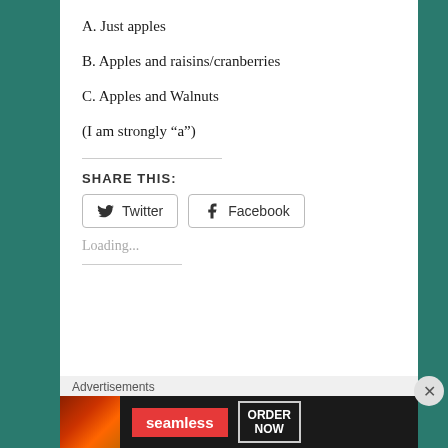A. Just apples
B. Apples and raisins/cranberries
C. Apples and Walnuts
(I am strongly “a”)
SHARE THIS:
[Figure (other): Twitter and Facebook share buttons]
Loading...
Advertisements
[Figure (other): Seamless food delivery advertisement banner with pizza image, seamless logo, and ORDER NOW button]